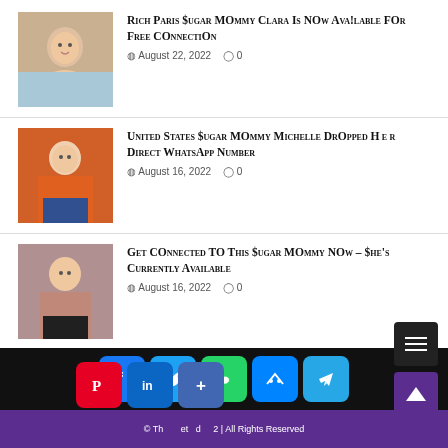[Figure (photo): Thumbnail photo of a woman for article 1]
Rich Paris Sugar MOmmy Clara Is NOw Ava!lable FOr Free COnnectiOn
August 22, 2022   0
[Figure (photo): Thumbnail photo of a woman in orange jacket for article 2]
United States Sugar MOmmy Michelle DrOpped H e r Direct WhatsApp Number
August 16, 2022   0
[Figure (photo): Thumbnail photo of a woman in pink top for article 3]
Get COnnected TO This Sugar MOmmy NOw – She's Currently Available
August 16, 2022   0
© Th...et...d...2 | All Rights Reserved